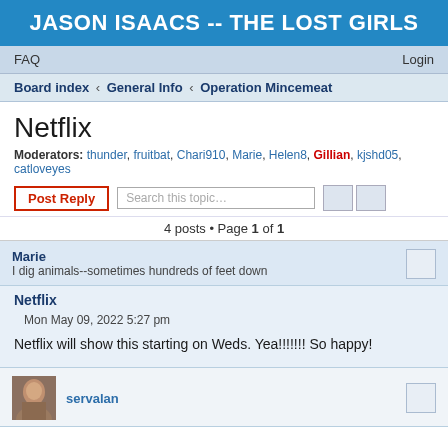JASON ISAACS -- THE LOST GIRLS
FAQ   Login
Board index › General Info › Operation Mincemeat
Netflix
Moderators: thunder, fruitbat, Chari910, Marie, Helen8, Gillian, kjshd05, catloveyes
Post Reply   Search this topic...   4 posts • Page 1 of 1
Marie
I dig animals--sometimes hundreds of feet down
Netflix
Mon May 09, 2022 5:27 pm
Netflix will show this starting on Weds. Yea!!!!!!! So happy!
servalan